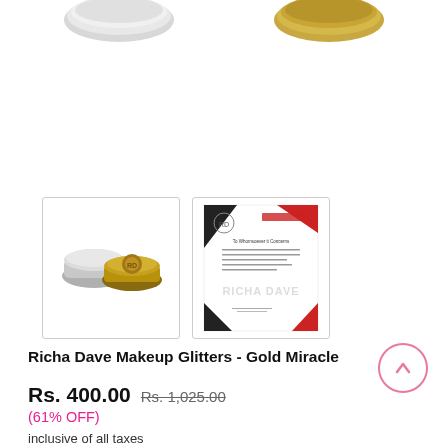[Figure (photo): Two partially visible circular product containers (makeup glitters) at top edge of page]
[Figure (photo): Thumbnail image of two makeup glitter containers - silver and gold compact pots]
[Figure (photo): Thumbnail image of Richa Dave certificate/document with logo and signature]
Richa Dave Makeup Glitters - Gold Miracle
Rs. 400.00  Rs. 1,025.00
(61% OFF)
inclusive of all taxes